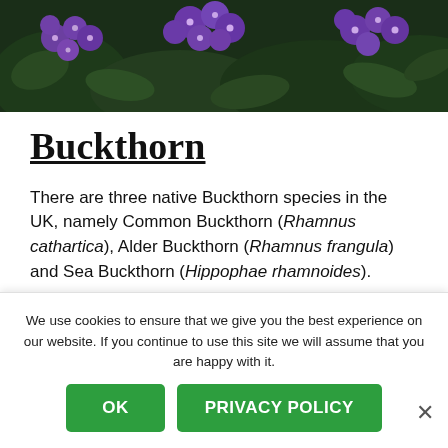[Figure (photo): A banner photo showing purple flowers (likely heliotrope or similar) with green leaves against a dark background.]
Buckthorn
There are three native Buckthorn species in the UK, namely Common Buckthorn (Rhamnus cathartica), Alder Buckthorn (Rhamnus frangula) and Sea Buckthorn (Hippophae rhamnoides).
The Brimstone butterfly lays its eggs on the first two of the...
We use cookies to ensure that we give you the best experience on our website. If you continue to use this site we will assume that you are happy with it.